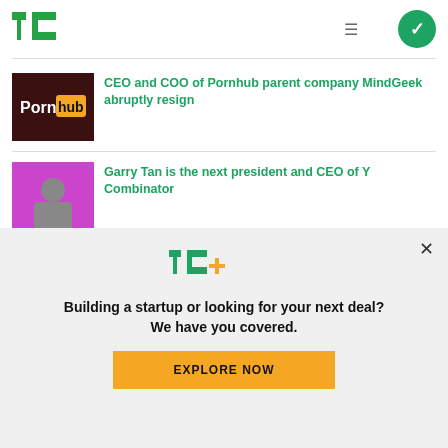TechCrunch logo, hamburger menu, checkmark circle
CEO and COO of Pornhub parent company MindGeek abruptly resign
Garry Tan is the next president and CEO of Y Combinator
[Figure (screenshot): TechCrunch+ modal overlay with logo, promotional text and Explore Now button]
Building a startup or looking for your next deal? We have you covered.